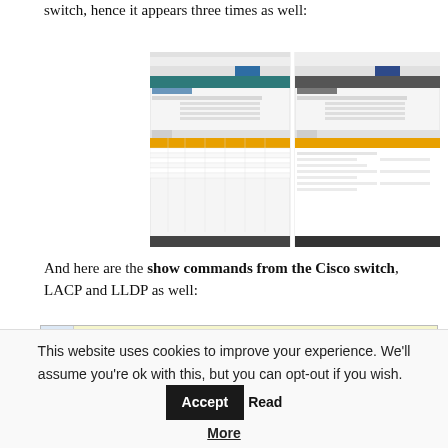switch, hence it appears three times as well:
[Figure (screenshot): Two side-by-side screenshots of network switch management interface showing LACP/LLDP tables with teal and yellow/gold colored header rows and tabular data.]
And here are the show commands from the Cisco switch, LACP and LLDP as well:
[Figure (screenshot): Code block showing Cisco switch CLI output. Line 1: PA-TESTSW01#show etherchannel summary. Line 2: Flags: D - down   P - bundled in port-channel. Line 3: I - stand alone s - suspended]
This website uses cookies to improve your experience. We'll assume you're ok with this, but you can opt-out if you wish.
Read More